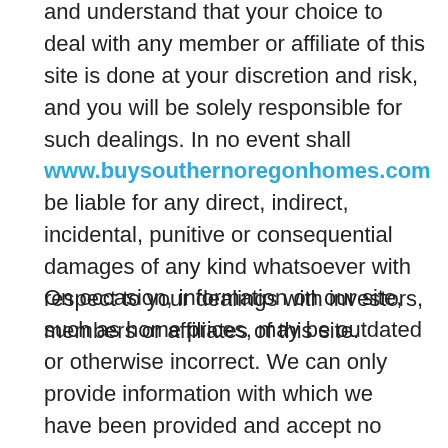and understand that your choice to deal with any member or affiliate of this site is done at your discretion and risk, and you will be solely responsible for such dealings. In no event shall www.buysouthernoregonhomes.com be liable for any direct, indirect, incidental, punitive or consequential damages of any kind whatsoever with respect to your dealings with investors, members or affiliates of this site.
On occasion, information on our site, such as home prices, may be outdated or otherwise incorrect. We can only provide information with which we have been provided and accept no responsibility for any information that is out of date or otherwise invalid.